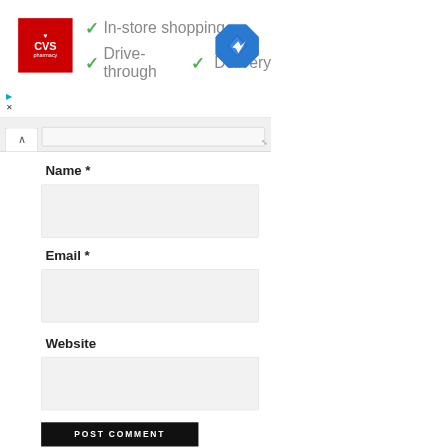[Figure (screenshot): CVS Pharmacy advertisement banner showing logo and store features: In-store shopping, Drive-through, Delivery with green checkmarks and a blue navigation icon]
Name *
Email *
Website
POST COMMENT